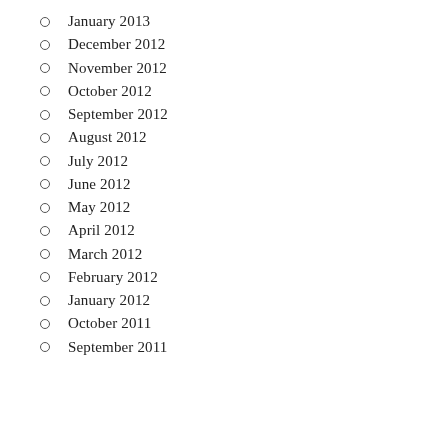January 2013
December 2012
November 2012
October 2012
September 2012
August 2012
July 2012
June 2012
May 2012
April 2012
March 2012
February 2012
January 2012
October 2011
September 2011